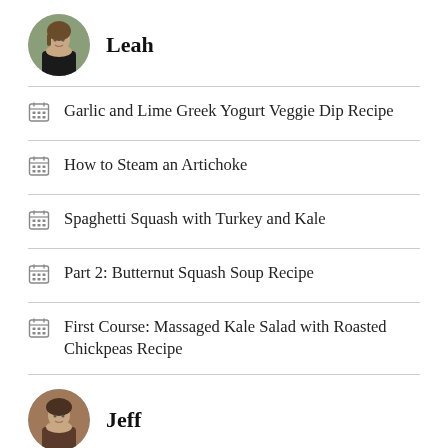[Figure (photo): Circular avatar photo of Leah]
Leah
Garlic and Lime Greek Yogurt Veggie Dip Recipe
How to Steam an Artichoke
Spaghetti Squash with Turkey and Kale
Part 2: Butternut Squash Soup Recipe
First Course: Massaged Kale Salad with Roasted Chickpeas Recipe
[Figure (photo): Circular avatar photo of Jeff]
Jeff
“FRESHMAN EATS” Moves to Round Two on The